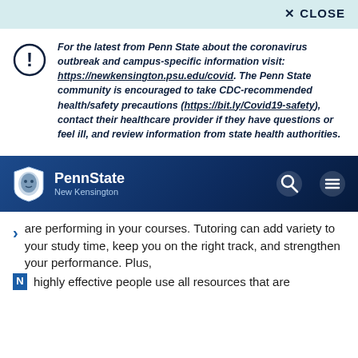✕ CLOSE
For the latest from Penn State about the coronavirus outbreak and campus-specific information visit: https://newkensington.psu.edu/covid. The Penn State community is encouraged to take CDC-recommended health/safety precautions (https://bit.ly/Covid19-safety), contact their healthcare provider if they have questions or feel ill, and review information from state health authorities.
[Figure (logo): Penn State New Kensington logo with lion mascot shield in dark navy navigation bar]
are performing in your courses. Tutoring can add variety to your study time, keep you on the right track, and strengthen your performance. Plus, highly effective people use all resources that are